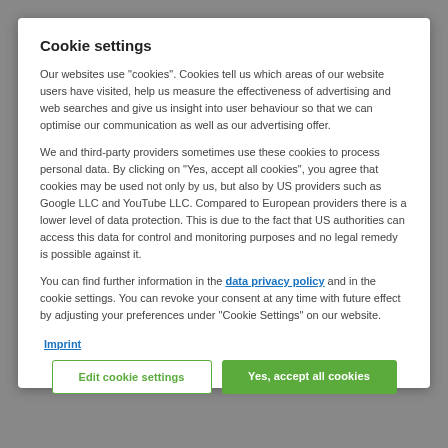Cookie settings
Our websites use "cookies". Cookies tell us which areas of our website users have visited, help us measure the effectiveness of advertising and web searches and give us insight into user behaviour so that we can optimise our communication as well as our advertising offer.
We and third-party providers sometimes use these cookies to process personal data. By clicking on "Yes, accept all cookies", you agree that cookies may be used not only by us, but also by US providers such as Google LLC and YouTube LLC. Compared to European providers there is a lower level of data protection. This is due to the fact that US authorities can access this data for control and monitoring purposes and no legal remedy is possible against it.
You can find further information in the data privacy policy and in the cookie settings. You can revoke your consent at any time with future effect by adjusting your preferences under "Cookie Settings" on our website.
Imprint
Edit cookie settings
Yes, accept all cookies